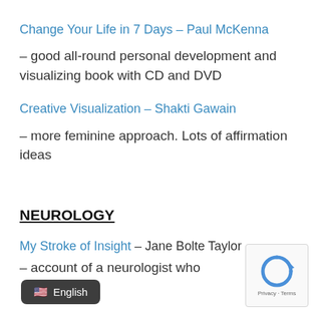Change Your Life in 7 Days – Paul McKenna
– good all-round personal development and visualizing book with CD and DVD
Creative Visualization – Shakti Gawain
– more feminine approach. Lots of affirmation ideas
NEUROLOGY
My Stroke of Insight – Jane Bolte Taylor
– account of a neurologist who